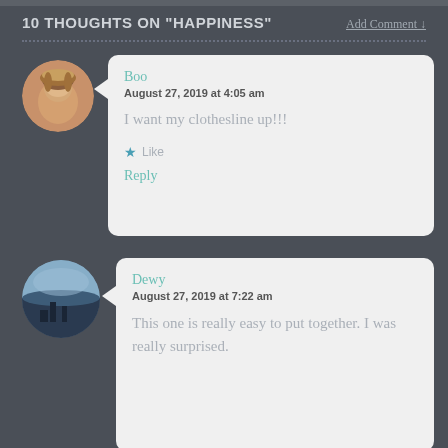10 THOUGHTS ON "HAPPINESS"
Add Comment ↓
Boo
August 27, 2019 at 4:05 am

I want my clothesline up!!!

★ Like

Reply
Dewy
August 27, 2019 at 7:22 am

This one is really easy to put together. I was really surprised.